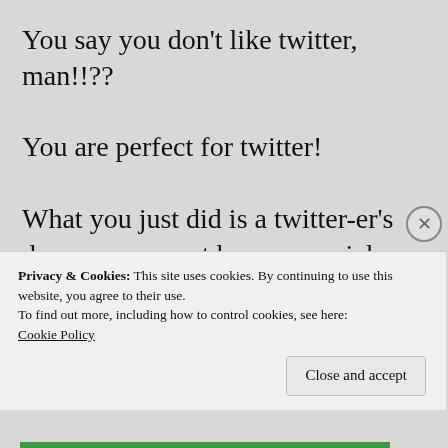You say you don't like twitter, man!!??
You are perfect for twitter!
What you just did is a twitter-er's dream–you must have a special thought process to allow you to do that!
All my tweets are tiny then filled in with #hashtags until I reach 140.
Privacy & Cookies: This site uses cookies. By continuing to use this website, you agree to their use.
To find out more, including how to control cookies, see here: Cookie Policy
Close and accept